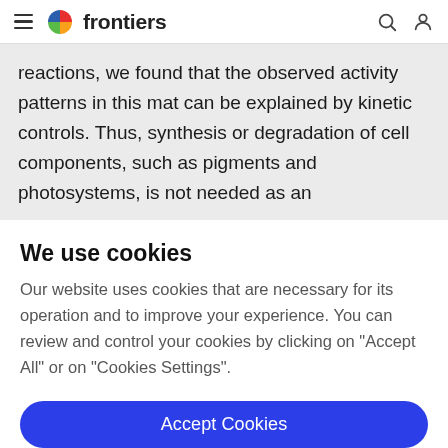frontiers
reactions, we found that the observed activity patterns in this mat can be explained by kinetic controls. Thus, synthesis or degradation of cell components, such as pigments and photosystems, is not needed as an
We use cookies
Our website uses cookies that are necessary for its operation and to improve your experience. You can review and control your cookies by clicking on "Accept All" or on "Cookies Settings".
Accept Cookies
Cookies Settings